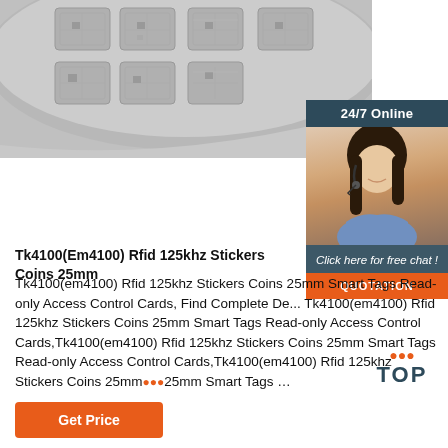[Figure (photo): RFID sticker coins 25mm shown in a roll/disc, gray background with grid pattern of square RFID tags]
[Figure (photo): 24/7 Online chat widget showing a customer service representative (woman with headset), '24/7 Online' header bar, 'Click here for free chat!' text, and 'QUOTATION' orange button]
Tk4100(Em4100) Rfid 125khz Stickers Coins 25mm
Tk4100(em4100) Rfid 125khz Stickers Coins 25mm Smart Tags Read-only Access Control Cards, Find Complete Details about Tk4100(em4100) Rfid 125khz Stickers Coins 25mm Smart Tags Read-only Access Control Cards,Tk4100(em4100) Rfid 125khz Stickers Coins 25mm Smart Tags Read-only Access Control Cards,Tk4100(em4100) Rfid 125khz Stickers Coins 25mm 25mm Smart Tags ...
[Figure (logo): TOP badge with orange dots above, dark blue 'TOP' text]
Get Price